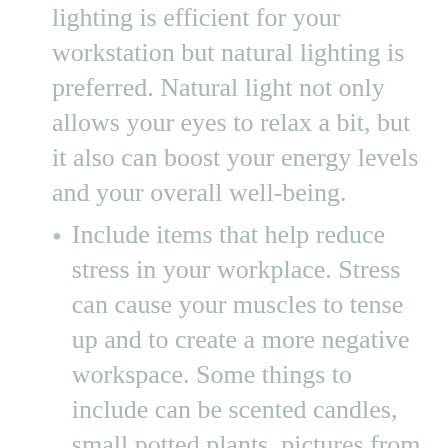lighting is efficient for your workstation but natural lighting is preferred. Natural light not only allows your eyes to relax a bit, but it also can boost your energy levels and your overall well-being.
Include items that help reduce stress in your workplace. Stress can cause your muscles to tense up and to create a more negative workspace. Some things to include can be scented candles, small potted plants, pictures from home, whatever makes you feel relaxed.
[Figure (photo): Broken image placeholder with alt text 'office desk ergonomics']